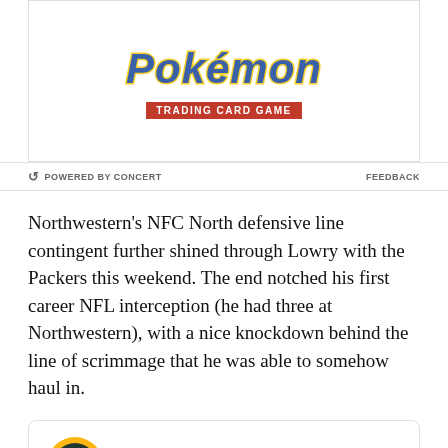[Figure (logo): Pokémon Trading Card Game logo with blue/yellow text and red badge]
POWERED BY CONCERT   FEEDBACK
Northwestern's NFC North defensive line contingent further shined through Lowry with the Packers this weekend. The end notched his first career NFL interception (he had three at Northwestern), with a nice knockdown behind the line of scrimmage that he was able to somehow haul in.
[Figure (screenshot): Embedded tweet from Green Bay Packers (@packers) with Follow button and Twitter bird logo. Tweet text: .@DeanLowry94 with the INT! #CHIvsGB | #GoBackGo]